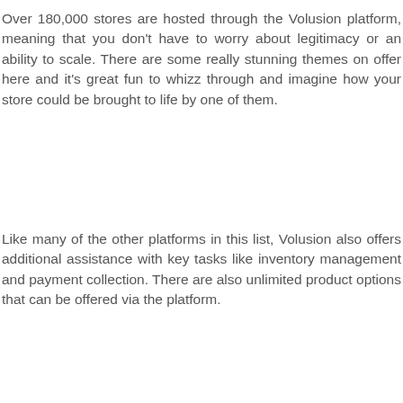Over 180,000 stores are hosted through the Volusion platform, meaning that you don't have to worry about legitimacy or an ability to scale. There are some really stunning themes on offer here and it's great fun to whizz through and imagine how your store could be brought to life by one of them.
Like many of the other platforms in this list, Volusion also offers additional assistance with key tasks like inventory management and payment collection. There are also unlimited product options that can be offered via the platform.